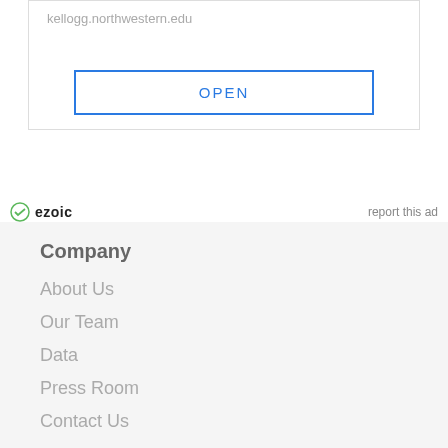kellogg.northwestern.edu
OPEN
ezoic   report this ad
Company
About Us
Our Team
Data
Press Room
Contact Us
Get Started